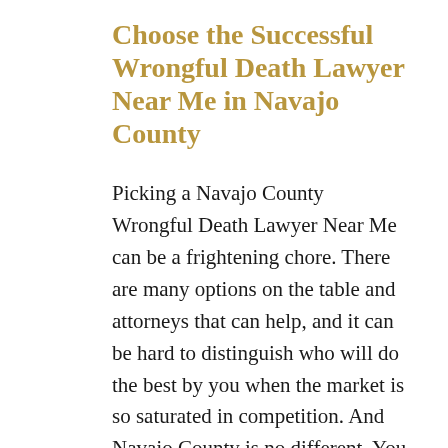Choose the Successful Wrongful Death Lawyer Near Me in Navajo County
Picking a Navajo County Wrongful Death Lawyer Near Me can be a frightening chore. There are many options on the table and attorneys that can help, and it can be hard to distinguish who will do the best by you when the market is so saturated in competition. And Navajo County is no different. You want an attorney that is experienced in your field of law and has been successful with many